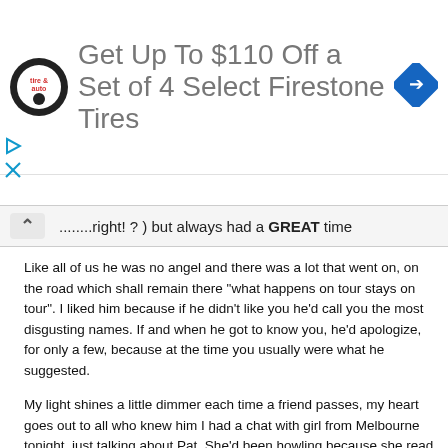[Figure (screenshot): Advertisement banner for Firestone Tires with logo and navigation arrow icon, showing 'Get Up To $110 Off a Set of 4 Select Firestone Tires']
........right! ? ) but always had a GREAT time
Like all of us he was no angel and there was a lot that went on, on the road which shall remain there "what happens on tour stays on tour". I liked him because if he didn't like you he'd call you the most disgusting names. If and when he got to know you, he'd apologize, for only a few, because at the time you usually were what he suggested.
My light shines a little dimmer each time a friend passes, my heart goes out to all who knew him I had a chat with girl from Melbourne tonight, just talking about Pat, She'd been howling because she read my face book update she told me things he did for her how he took her in he was like the big brother she